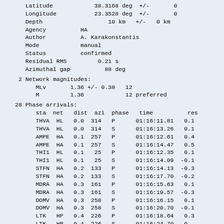Latitude   38.3168 deg  +/-   0
Longitude  23.3528 deg  +/-   0
Depth          10 km   +/-   0 km
Agency     HA
Author     A. Karakonstantis
Mode       manual
Status     confirmed
Residual RMS      0.21 s
Azimuthal gap      88 deg
2 Network magnitudes:
    MLv       1.36 +/- 0.38  12
    M         1.36           12 preferred
28 Phase arrivals:
    sta  net   dist  azi  phase   time          res
    THVA  HL   0.0  314   P      01:16:11.81   0.1
    THVA  HL   0.0  314   S      01:16:13.26   0.1
    AMPE  HA   0.1  257   P      01:16:12.61   0.4
    AMPE  HA   0.1  257   S      01:16:14.47   0.5
    THI1  HL   0.1   25   P      01:16:12.35   0.1
    THI1  HL   0.1   25   S      01:16:14.09  -0.1
    STFN  HA   0.2  133   P      01:16:14.13  -0.3
    STFN  HA   0.2  133   S      01:16:17.70  -0.2
    MDRA  HA   0.3  161   P      01:16:15.63   0.1
    MDRA  HA   0.3  161   S      01:16:19.57  -0.3
    DOMV  HA   0.3  258   P      01:16:16.15   0.1
    DOMV  HA   0.3  258   S      01:16:20.70  -0.1
    LTK   HP   0.4  226   P      01:16:18.64   0.3
    LTK   HP   0.4  226   S      01:16:24.70  -0.